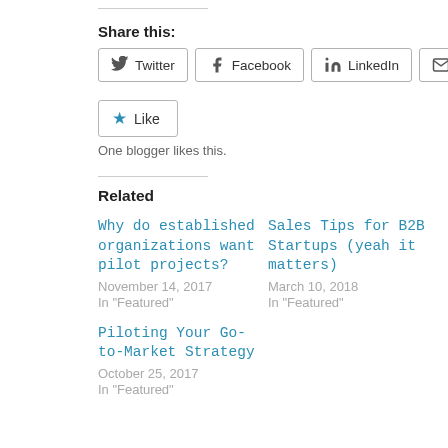Share this:
Twitter
Facebook
LinkedIn
Email
[Figure (other): Like button with star icon]
One blogger likes this.
Related
Why do established organizations want pilot projects?
November 14, 2017
In "Featured"
Sales Tips for B2B Startups (yeah it matters)
March 10, 2018
In "Featured"
Piloting Your Go-to-Market Strategy
October 25, 2017
In "Featured"